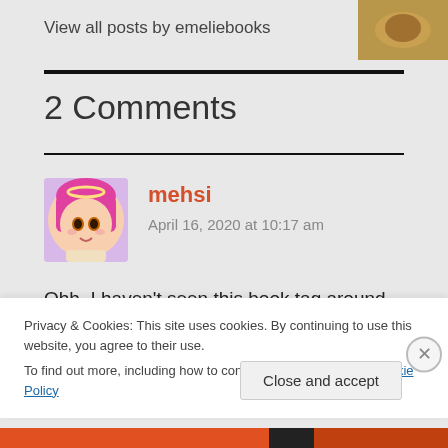View all posts by emeliebooks
2 Comments
mehsi
April 16, 2020 at 10:17 am
Ohh, I haven't seen this book tag around yet. I love it! I enjoyed reading your answers and I agree on To All The
Privacy & Cookies: This site uses cookies. By continuing to use this website, you agree to their use.
To find out more, including how to control cookies, see here: Cookie Policy
Close and accept